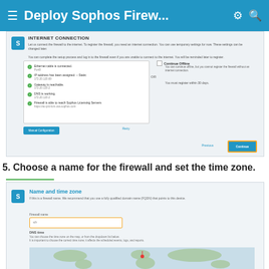Deploy Sophos Firew...
[Figure (screenshot): Sophos Firewall setup wizard showing Internet connection status screen with green checkmarks for: Ethernet cable is connected (Port8), IP address has been assigned - Static (172.20.120.69), Gateway is reachable (172.20.120.2), DNS is working (172.20.120.2), Firewall is able to reach Sophos Licensing Servers (https://au-prd-lum.osa.sophos.com). A 'Continue Offline' checkbox option and 'Manual Configuration' and 'Retry' buttons are shown, along with Previous and Continue navigation buttons.]
5. Choose a name for the firewall and set the time zone.
[Figure (screenshot): Sophos Firewall setup wizard showing 'Name and time zone' screen with a Firewall name input field highlighted in orange border, a DNS label section with description, and a world map for time zone selection with a marker placed in Europe.]